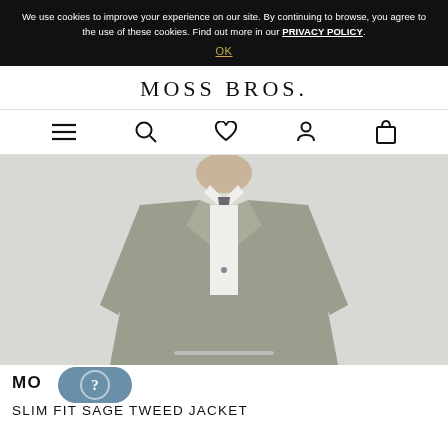We use cookies to improve your experience on our site. By continuing to browse, you agree to the use of these cookies. Find out more in our PRIVACY POLICY.
OK
MOSS BROS.
[Figure (illustration): Navigation icons: hamburger menu, search, heart/wishlist, user account, shopping bag]
[Figure (photo): Man wearing a slim fit sage tweed jacket with white shirt and grey tie, product photo on light grey background]
MO
SLIM FIT SAGE TWEED JACKET